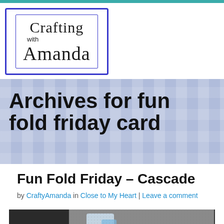[Figure (logo): Crafting with Amanda logo — script text in a double blue-bordered rectangle]
Archives for fun fold friday card
Fun Fold Friday – Cascade
by CraftyAmanda in Close to My Heart | Leave a comment
[Figure (photo): Partial image of a handmade cascade fold card, visible at bottom of page]